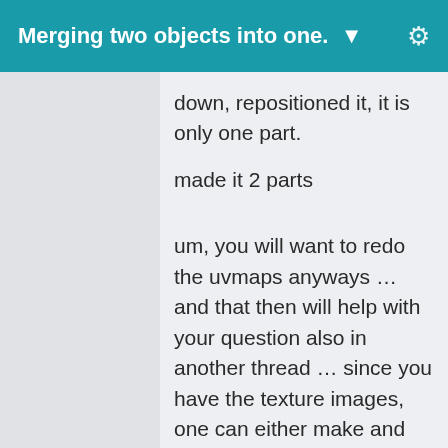Merging two objects into one. ▼
down, repositioned it, it is only one part.
made it 2 parts
um, you will want to redo the uvmaps anyways … and that then will help with your question also in another thread … since you have the texture images, one can either make and put the uvtemplates to match the pictures OR just make some nice uvmaps then place the textures in the right place on the template using that